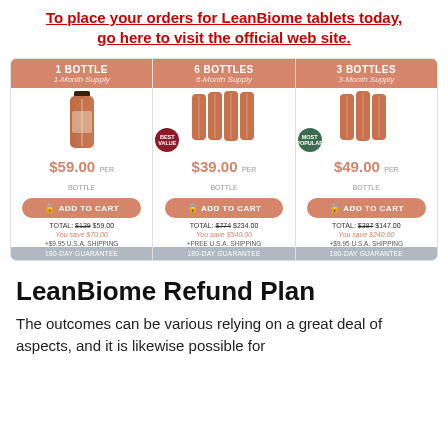To place your orders for LeanBiome tablets today, go here to visit the official web site.
[Figure (infographic): LeanBiome pricing table showing three purchase options: 1 Bottle 1-Month Supply at $59.00 per bottle (TOTAL: $129 $59.00, You save $70.00, +$9.95 U.S.A. Shipping, 180-Day Guarantee), 6 Bottles 6-Month Supply at $39.00 per bottle (TOTAL: $774 $234.00, You save $540.00, +FREE U.S.A. Shipping, 180-Day Guarantee, BEST VALUE badge), 3 Bottles 3-Month Supply at $49.00 per bottle (TOTAL: $387 $147.00, You save $240.00, +$9.95 U.S.A. Shipping, 180-Day Guarantee, MOST POPULAR badge). Each option has an ADD TO CART button.]
LeanBiome Refund Plan
The outcomes can be various relying on a great deal of aspects, and it is likewise possible for